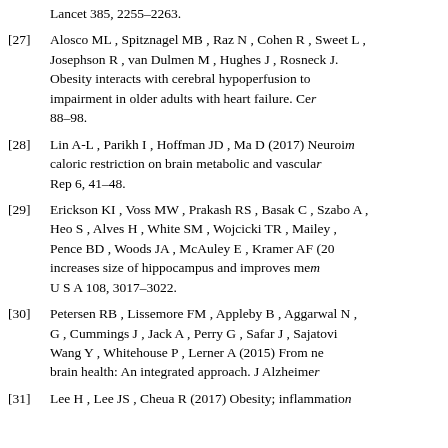Lancet 385, 2255–2263.
[27]  Alosco ML , Spitznagel MB , Raz N , Cohen R , Sweet L , Josephson R , van Dulmen M , Hughes J , Rosneck J. Obesity interacts with cerebral hypoperfusion to impairment in older adults with heart failure. Cer 88–98.
[28]  Lin A-L , Parikh I , Hoffman JD , Ma D (2017) Neuroim caloric restriction on brain metabolic and vascula Rep 6, 41–48.
[29]  Erickson KI , Voss MW , Prakash RS , Basak C , Szabo A , Heo S , Alves H , White SM , Wojcicki TR , Mailey , Pence BD , Woods JA , McAuley E , Kramer AF (20 increases size of hippocampus and improves me U S A 108, 3017–3022.
[30]  Petersen RB , Lissemore FM , Appleby B , Aggarwal N , G , Cummings J , Jack A , Perry G , Safar J , Sajatovi Wang Y , Whitehouse P , Lerner A (2015) From ne brain health: An integrated approach. J Alzheime
[31]  Lee H , Lee JS , Cheua R (2017) Obesity; inflammatio